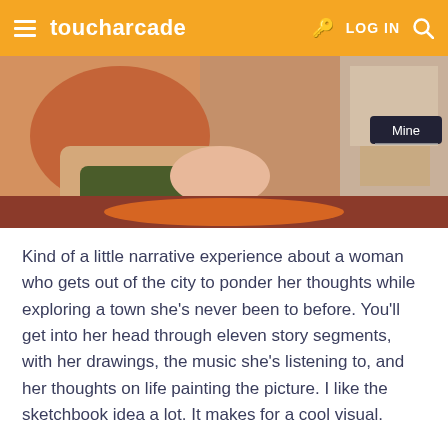toucharcade   LOG IN
[Figure (screenshot): Anime-style visual novel screenshot showing a woman's hand on a surface with a dialog box reading 'Mine']
Kind of a little narrative experience about a woman who gets out of the city to ponder her thoughts while exploring a town she's never been to before. You'll get into her head through eleven story segments, with her drawings, the music she's listening to, and her thoughts on life painting the picture. I like the sketchbook idea a lot. It makes for a cool visual.
Taisho X Alice All In One + English Patch Add On Bundle ($54.99)